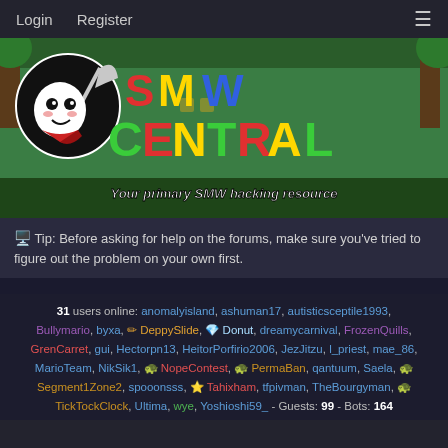Login  Register  ☰
[Figure (illustration): SMW Central banner logo with mascot character and colorful stylized text 'SMW Central — Your primary SMW hacking resource']
🖥️ Tip: Before asking for help on the forums, make sure you've tried to figure out the problem on your own first.
31 users online: anomalyisland, ashuman17, autisticsceptile1993, Bullymario, byxa, 🖊 DeppySlide, 💎 Donut, dreamycarnival, FrozenQuills, GrenCarret, gui, Hectorpn13, HeitorPorfirio2006, JezJitzu, l_priest, mae_86, MarioTeam, NikSik1, 🐢 NopeContest, 🐢 PermaBan, qantuum, Saela, 🐢 Segment1Zone2, spooonsss, ⭐ Tahixham, tfpivman, TheBourgyman, 🐢 TickTockClock, Ultima, wye, Yoshioshi59_ - Guests: 99 - Bots: 164
Users: 55,799 (2,332 active)
Latest user: MrYoshi